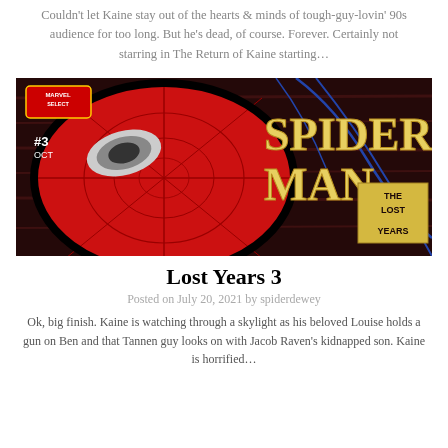Couldn't let Kaine stay out of the hearts & minds of tough-guy-lovin' 90s audience for too long. But he's dead, of course. Forever. Certainly not starring in The Return of Kaine starting...
[Figure (photo): Comic book cover of Spider-Man: The Lost Years #3, October issue. Features a close-up of Spider-Man's masked face on the left in red and black, with large yellow text reading SPIDER-MAN and THE LOST YEARS on the right against a dark background. Marvel Select logo in top left corner.]
Lost Years 3
Posted on July 20, 2021 by spiderdewey
Ok, big finish. Kaine is watching through a skylight as his beloved Louise holds a gun on Ben and that Tannen guy looks on with Jacob Raven's kidnapped son. Kaine is horrified...